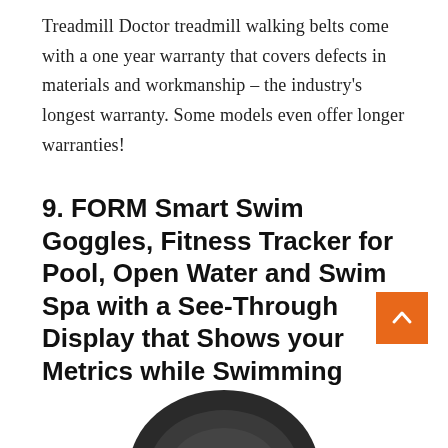Treadmill Doctor treadmill walking belts come with a one year warranty that covers defects in materials and workmanship – the industry's longest warranty. Some models even offer longer warranties!
9. FORM Smart Swim Goggles, Fitness Tracker for Pool, Open Water and Swim Spa with a See-Through Display that Shows your Metrics while Swimming
[Figure (photo): Partial view of a black swim goggle product at the bottom of the page]